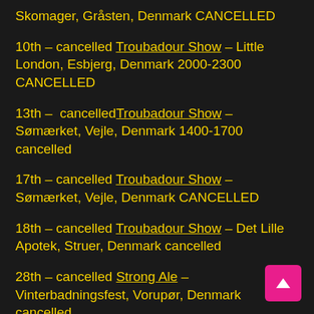Skomager, Gråsten, Denmark CANCELLED
10th – cancelled Troubadour Show – Little London, Esbjerg, Denmark 2000-2300 CANCELLED
13th – cancelled Troubadour Show – Sømærket, Vejle, Denmark 1400-1700 cancelled
17th – cancelled Troubadour Show – Sømærket, Vejle, Denmark CANCELLED
18th – cancelled Troubadour Show – Det Lille Apotek, Struer, Denmark cancelled
28th – cancelled Strong Ale – Vinterbadningsfest, Vorupør, Denmark cancelled
2021